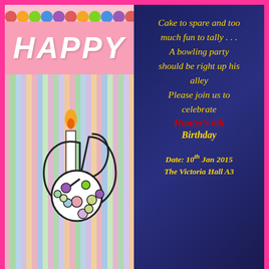[Figure (illustration): Left half: birthday card illustration with 'HAPPY' text in white on pink background, colorful vertical stripes, a polka-dotted number 6 candle with orange flame]
Cake to spare and too much fun to tally . . . A bowling party should be right up his alley Please join us to celebrate Hunter's 6th Birthday
Date: 10th Jan 2015
The Victoria Hall A3